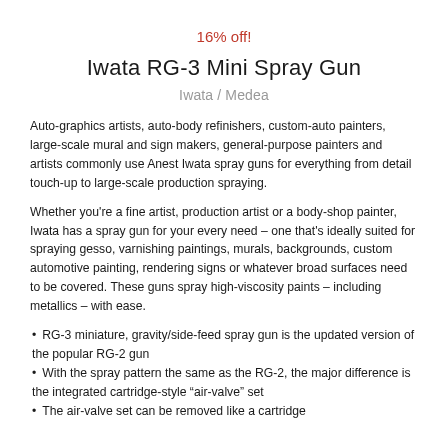16% off!
Iwata RG-3 Mini Spray Gun
Iwata / Medea
Auto-graphics artists, auto-body refinishers, custom-auto painters, large-scale mural and sign makers, general-purpose painters and artists commonly use Anest Iwata spray guns for everything from detail touch-up to large-scale production spraying.
Whether you're a fine artist, production artist or a body-shop painter, Iwata has a spray gun for your every need – one that's ideally suited for spraying gesso, varnishing paintings, murals, backgrounds, custom automotive painting, rendering signs or whatever broad surfaces need to be covered. These guns spray high-viscosity paints – including metallics – with ease.
RG-3 miniature, gravity/side-feed spray gun is the updated version of the popular RG-2 gun
With the spray pattern the same as the RG-2, the major difference is the integrated cartridge-style "air-valve" set
The air-valve set can be removed like a cartridge